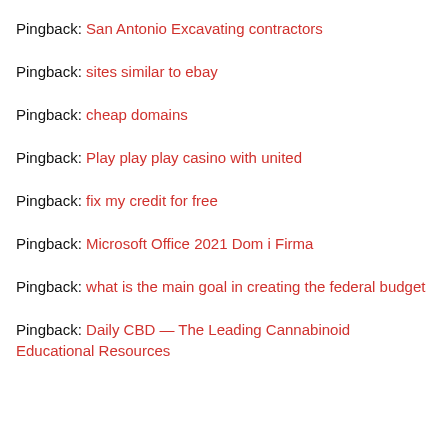Pingback: San Antonio Excavating contractors
Pingback: sites similar to ebay
Pingback: cheap domains
Pingback: Play play play casino with united
Pingback: fix my credit for free
Pingback: Microsoft Office 2021 Dom i Firma
Pingback: what is the main goal in creating the federal budget
Pingback: Daily CBD — The Leading Cannabinoid Educational Resources